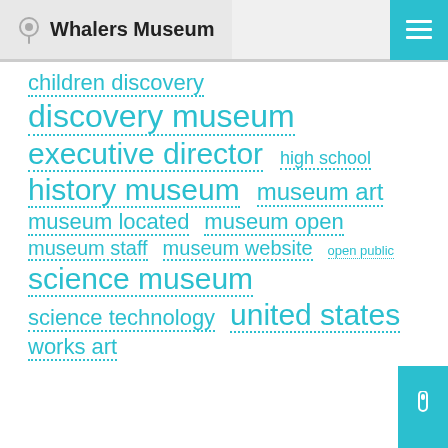Whalers Museum
children discovery
discovery museum
executive director  high school
history museum  museum art
museum located  museum open
museum staff  museum website  open public
science museum
science technology  united states
works art